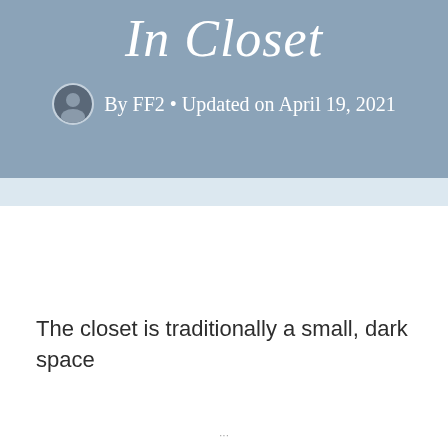In Closet
By FF2 • Updated on April 19, 2021
The closet is traditionally a small, dark space